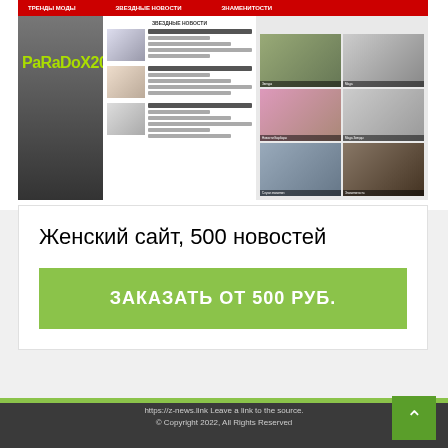[Figure (screenshot): Screenshot of a Russian women's website (女性新闻网站) showing celebrity news articles with thumbnails, overlaid with 'PaRaDoX2012' watermark text in green]
Женский сайт, 500 новостей
ЗАКАЗАТЬ ОТ 500 РУБ.
https://z-news.link Leave a link to the source. © Copyright 2022, All Rights Reserved